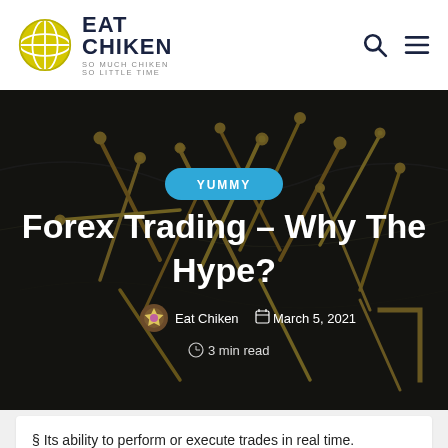EAT CHIKEN — SO MUCH CHIKEN SO LITTLE TIME
[Figure (photo): Dark background with gold/brass screws or pins scattered on a map surface]
YUMMY
Forex Trading – Why The Hype?
Eat Chiken   March 5, 2021   3 min read
§ Its ability to perform or execute trades in real time.
§ Its ability to greater diversification. Of course this